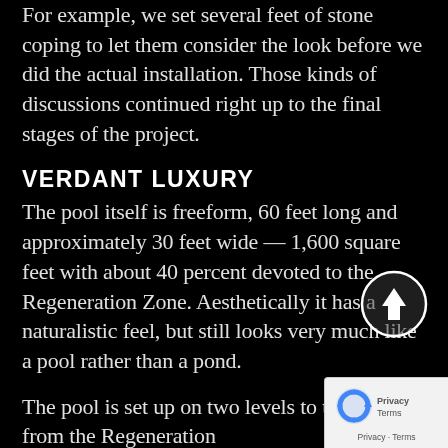For example, we set several feet of stone coping to let them consider the look before we did the actual installation. Those kinds of discussions continued right up to the final stages of the project.
VERDANT LUXURY
The pool itself is freeform, 60 feet long and approximately 30 feet wide — 1,600 square feet with about 40 percent devoted to the Regeneration Zone. Aesthetically it has a naturalistic feel, but still looks very much like a pool rather than a pond.
The pool is set up on two levels to the pool from the Regeneration
[Figure (other): Scroll-to-top button (circular white-bordered arrow up icon) and reCAPTCHA privacy badge in bottom-right corner]